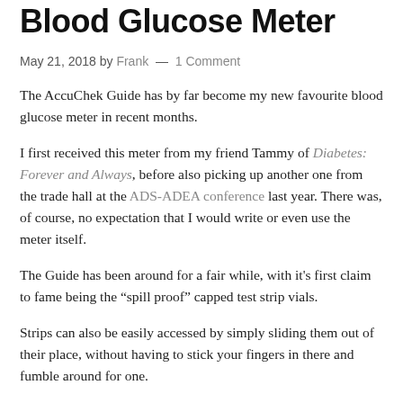Blood Glucose Meter
May 21, 2018 by Frank — 1 Comment
The AccuChek Guide has by far become my new favourite blood glucose meter in recent months.
I first received this meter from my friend Tammy of Diabetes: Forever and Always, before also picking up another one from the trade hall at the ADS-ADEA conference last year. There was, of course, no expectation that I would write or even use the meter itself.
The Guide has been around for a fair while, with it's first claim to fame being the “spill proof” capped test strip vials.
Strips can also be easily accessed by simply sliding them out of their place, without having to stick your fingers in there and fumble around for one.